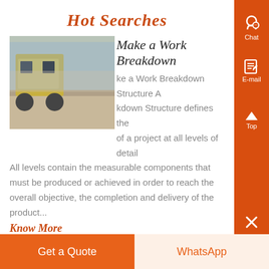Hot Searches
[Figure (photo): Construction vehicle or machinery at a work site, outdoor setting with dirt ground and sky background.]
Make a Work Breakdown
ke a Work Breakdown Structure A kdown Structure defines the of a project at all levels of detail All levels contain the measurable components that must be produced or achieved in order to reach the overall objective, the completion and delivery of the product...
Know More
Get a Quote   WhatsApp